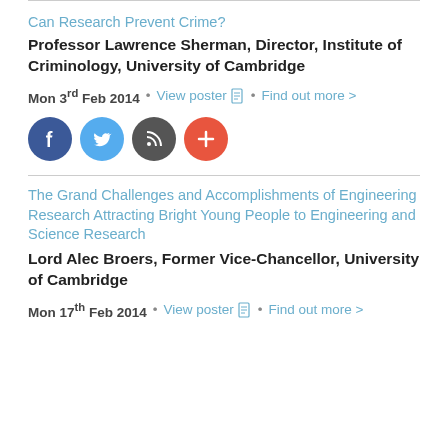Can Research Prevent Crime?
Professor Lawrence Sherman, Director, Institute of Criminology, University of Cambridge
Mon 3rd Feb 2014 • View poster • Find out more >
[Figure (infographic): Row of four social media/sharing icons: Facebook (blue), Twitter (light blue), Email/RSS (dark grey), Plus/Add (orange-red)]
The Grand Challenges and Accomplishments of Engineering Research Attracting Bright Young People to Engineering and Science Research
Lord Alec Broers, Former Vice-Chancellor, University of Cambridge
Mon 17th Feb 2014 • View poster • Find out more >